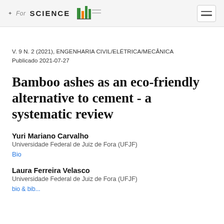ForSCIENCE [logo]
V. 9 N. 2 (2021), ENGENHARIA CIVIL/ELÉTRICA/MECÂNICA
Publicado 2021-07-27
Bamboo ashes as an eco-friendly alternative to cement - a systematic review
Yuri Mariano Carvalho
Universidade Federal de Juiz de Fora (UFJF)
Bio
Laura Ferreira Velasco
Universidade Federal de Juiz de Fora (UFJF)